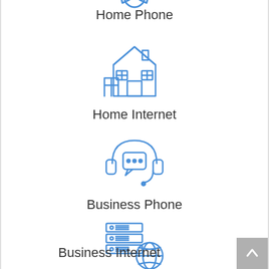[Figure (illustration): Blue outline icon of a home phone / handset (partially visible at top)]
Home Phone
[Figure (illustration): Blue outline icon of a house / home building]
Home Internet
[Figure (illustration): Blue outline icon of a headset with chat bubble / customer support]
Business Phone
[Figure (illustration): Blue outline icon of a server rack with a globe / world icon]
Business Internet